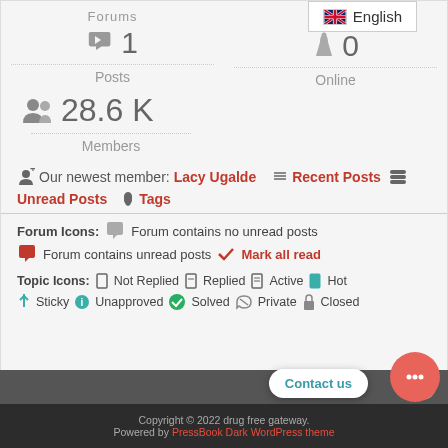Forums
1 Posts
English
0 Online
28.6 K Members
Our newest member: Lacy Ugalde   Recent Posts   Unread Posts   Tags
Forum Icons: Forum contains no unread posts  Forum contains unread posts  Mark all read
Topic Icons: Not Replied  Replied  Active  Hot  Sticky  Unapproved  Solved  Private  Closed
Copyright © 2022 drug free gateway. Powered by PressBook Dark WordPress theme